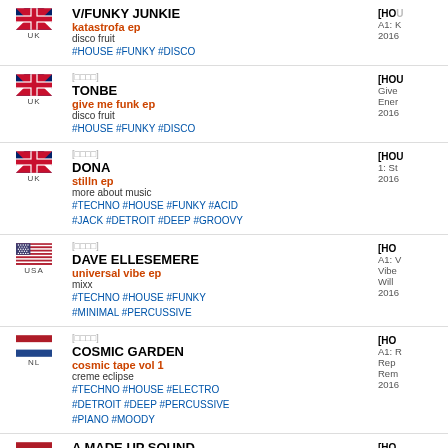V/FUNKY JUNKIE | katastrofa ep | disco fruit | #HOUSE #FUNKY #DISCO | UK | [HOU... A1: ... 2016
[□□□□] TONBE | give me funk ep | disco fruit | #HOUSE #FUNKY #DISCO | UK | [HOU... Give... Ener... 2016
[□□□□] DONA | stilln ep | more about music | #TECHNO #HOUSE #FUNKY #ACID #JACK #DETROIT #DEEP #GROOVY | UK | [HOU... 1: S... 2016
[□□□□] DAVE ELLESEMERE | universal vibe ep | mixx | #TECHNO #HOUSE #FUNKY #MINIMAL #PERCUSSIVE | USA | [HO... A1: ... Vibe... Will... 2016
[□□□□] COSMIC GARDEN | cosmic tape vol 1 | creme eclipse | #TECHNO #HOUSE #ELECTRO #DETROIT #DEEP #PERCUSSIVE #PIANO #MOODY | NL | [HO... A1: ... Rep... Rem... 2016
A MADE UP SOUND | bygones | a made up sound | #TECHNO #HOUSE #TECHHOUSE #DEEP | NL | [HO... □□□□ Byge... 2016